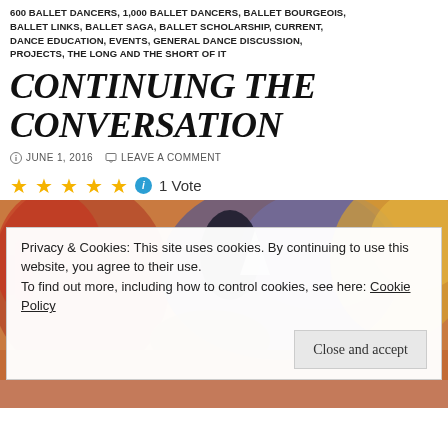600 BALLET DANCERS, 1,000 BALLET DANCERS, BALLET BOURGEOIS, BALLET LINKS, BALLET SAGA, BALLET SCHOLARSHIP, CURRENT, DANCE EDUCATION, EVENTS, GENERAL DANCE DISCUSSION, PROJECTS, THE LONG AND THE SHORT OF IT
CONTINUING THE CONVERSATION
JUNE 1, 2016   LEAVE A COMMENT
★★★★★ ⓘ 1 Vote
[Figure (photo): Abstract expressionist painting with warm reds, oranges, blues and purples, showing figures in loose painterly style]
Privacy & Cookies: This site uses cookies. By continuing to use this website, you agree to their use.
To find out more, including how to control cookies, see here: Cookie Policy
Close and accept